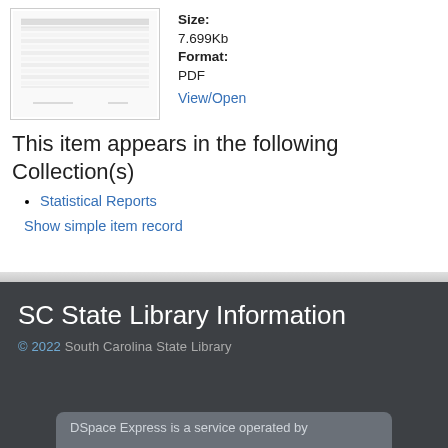[Figure (screenshot): Thumbnail image of a PDF document showing a table with data]
Size: 7.699Kb
Format: PDF
View/Open
This item appears in the following Collection(s)
Statistical Reports
Show simple item record
SC State Library Information
© 2022  South Carolina State Library
DSpace Express is a service operated by